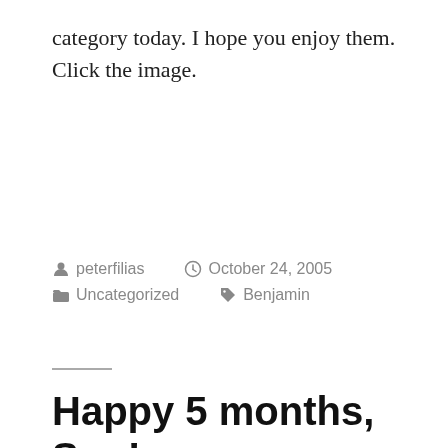category today. I hope you enjoy them. Click the image.
peterfilias   October 24, 2005   Uncategorized   Benjamin
Happy 5 months, Son!